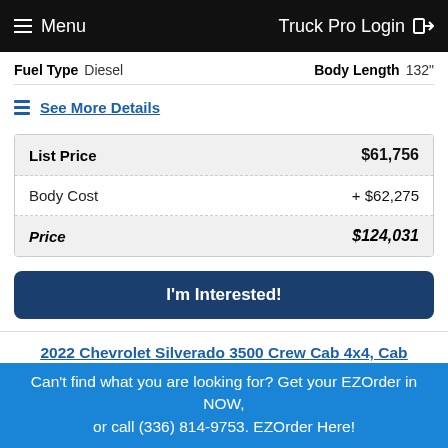Menu   Truck Pro Login
Fuel Type   Diesel   Body Length   132"
See More Details
| Item | Price |
| --- | --- |
| List Price | $61,756 |
| Body Cost | + $62,275 |
| Price | $124,031 |
I'm Interested!
2022 Chevrolet Silverado 3500 Crew Cab 4x4, Cab Chassis
Job Ready: Now
Can't find what you are looking for? Get your EZOrder in NOW, or call (336) 814-9753. EZOrder Here!